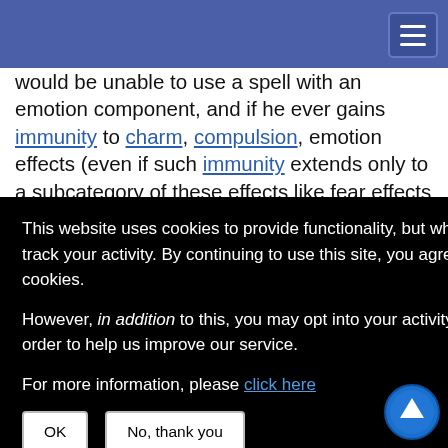would be unable to use a spell with an emotion component, and if he ever gains immunity to charm, compulsion, emotion effects (even if such immunity extends only to a subcategory of these effects like fear effects or compulsion effects from creatures of certain alignments), he loses all his kineticist abilities. This includes effects that [...] ly last until the [...] elemental [...] his penalties [...] o ignore such [...] y gain them, [...] class feature [...] age), but once [...] e an immuni[ty] [...] annot be
This website uses cookies to provide functionality, but which are not used to track your activity. By continuing to use this site, you agree to the use of these cookies.

However, in addition to this, you may opt into your activity being tracked in order to help us improve our service.

For more information, please click here